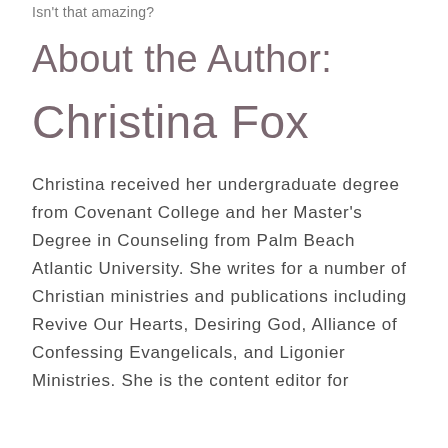Isn't that amazing?
About the Author:
Christina Fox
Christina received her undergraduate degree from Covenant College and her Master's Degree in Counseling from Palm Beach Atlantic University. She writes for a number of Christian ministries and publications including Revive Our Hearts, Desiring God, Alliance of Confessing Evangelicals, and Ligonier Ministries. She is the content editor for